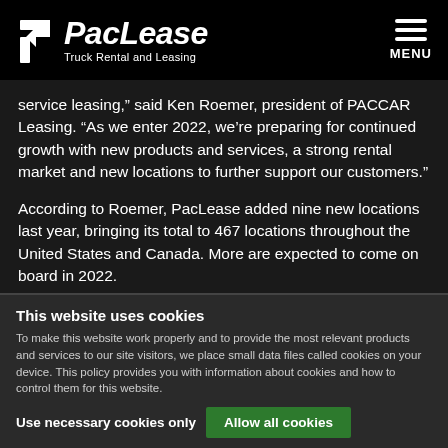PacLease — Truck Rental and Leasing
service leasing,” said Ken Roemer, president of PACCAR Leasing. “As we enter 2022, we’re preparing for continued growth with new products and services, a strong rental market and new locations to further support our customers.”
According to Roemer, PacLease added nine new locations last year, bringing its total to 467 locations throughout the United States and Canada. More are expected to come on board in 2022.
This website uses cookies
To make this website work properly and to provide the most relevant products and services to our site visitors, we place small data files called cookies on your device. This policy provides you with information about cookies and how to control them for this website.
Use necessary cookies only    Allow all cookies